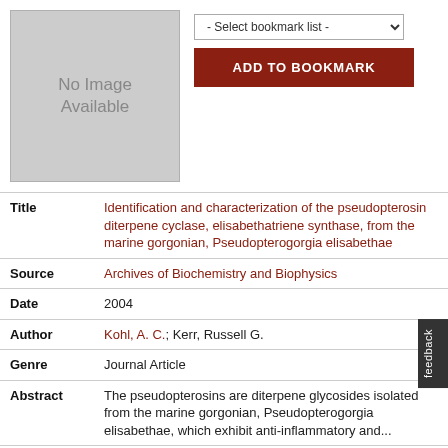[Figure (other): No Image Available placeholder box (grey rectangle)]
- Select bookmark list -
ADD TO BOOKMARK
| Field | Value |
| --- | --- |
| Title | Identification and characterization of the pseudopterosin diterpene cyclase, elisabethatriene synthase, from the marine gorgonian, Pseudopterogorgia elisabethae |
| Source | Archives of Biochemistry and Biophysics |
| Date | 2004 |
| Author | Kohl, A. C.; Kerr, Russell G. |
| Genre | Journal Article |
| Abstract | The pseudopterosins are diterpene glycosides isolated from the marine gorgonian, Pseudopterogorgia elisabethae, which exhibit anti-inflammatory and... |
| Volume | 424 |